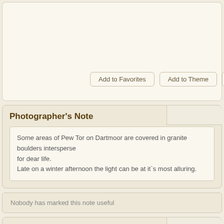Add to Favorites | Add to Theme | Start Discussion | Po...
Photographer's Note
Some areas of Pew Tor on Dartmoor are covered in granite boulders interspersed... for dear life.
Late on a winter afternoon the light can be at it`s most alluring.
Nobody has marked this note useful
Critiques | Translate